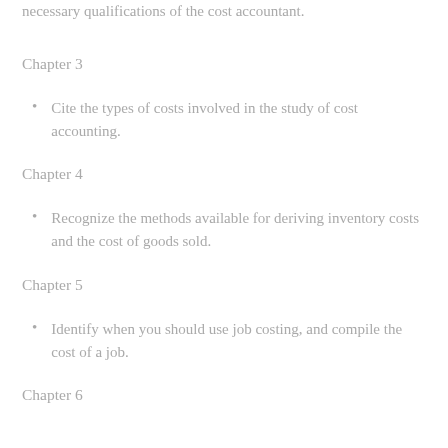necessary qualifications of the cost accountant.
Chapter 3
Cite the types of costs involved in the study of cost accounting.
Chapter 4
Recognize the methods available for deriving inventory costs and the cost of goods sold.
Chapter 5
Identify when you should use job costing, and compile the cost of a job.
Chapter 6